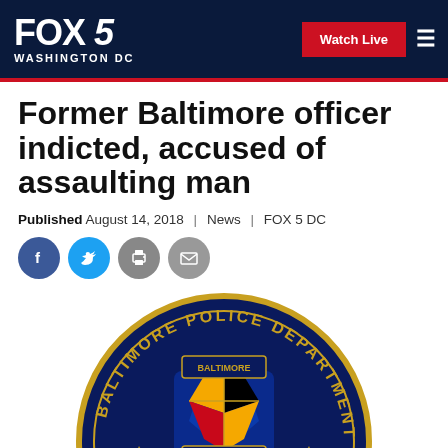FOX 5 WASHINGTON DC
Former Baltimore officer indicted, accused of assaulting man
Published August 14, 2018 | News | FOX 5 DC
[Figure (logo): Social sharing icons: Facebook, Twitter, Print, Email]
[Figure (photo): Baltimore Police Department seal/badge — circular navy blue badge with gold text reading BALTIMORE POLICE DEPARTMENT around the rim, central shield with Maryland state flag colors, flanked by gold figures/laurels, with BALTIMORE POLICE on a gold center shield]